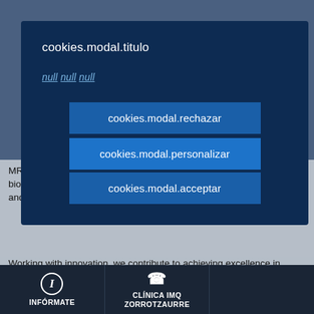cookies.modal.titulo
null null null
cookies.modal.rechazar
cookies.modal.personalizar
cookies.modal.acceptar
MRI, digital breast tomosynthesis, stereotaxy, VAB (vacuum-assisted biopsy), and an interventional radiology theatre where interventional and haemodynamic procedures are performed.
Working with innovation, we contribute to achieving excellence in healthcare, above all for more complex specialities such as oncology and cardiovascular diseases, amongst others. Therefore, the IMQ healthcare services have avant-garde techniques when available the most advanced surgery, surgical oncology
INFÓRMATE | CLÍNICA IMQ ZORROTZAURRE